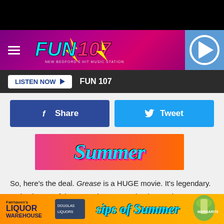[Figure (screenshot): Black top bar]
FUN 107
LISTEN NOW  FUN 107
[Figure (infographic): Facebook Share and Tweet social buttons]
[Figure (photo): Summer advertisement banner image with colorful summer text]
So, here's the deal. Grease is a HUGE movie. It's legendary. It also is one of those movies we need to leave alone. We don't need any more of it. It was all good as is, but that's not stopping a prequel from being made. According to Good Morning America, Paramount Pictures said they're
[Figure (photo): Bottom advertisement: Fairhaven's Liquor Warehouse - sips of Summer with Falcon Margarita]